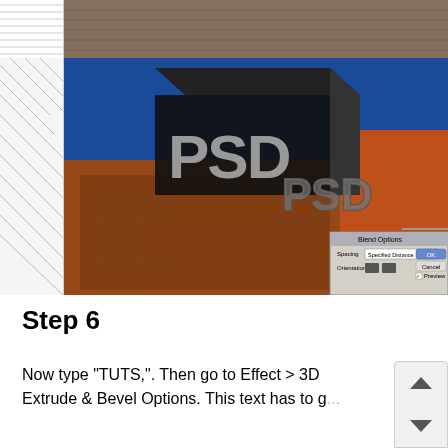[Figure (screenshot): Photoshop tutorial screenshot showing a 3D 'PSD' text effect over a brick building background, with a 'Blend Options' dialog box visible in the lower right corner showing Spacing set to 'Specified Distance' and Orientation options, plus OK, Cancel, and Preview buttons.]
Step 6
Now type "TUTS,". Then go to Effect > 3D Extrude & Bevel Options. This text has to g...t the same direction as the "PSD" text...